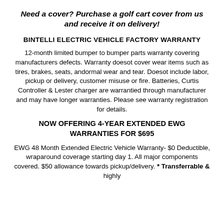Need a cover? Purchase a golf cart cover from us and receive it on delivery!
BINTELLI ELECTRIC VEHICLE FACTORY WARRANTY
12-month limited bumper to bumper parts warranty covering manufacturers defects. Warranty doesot cover wear items such as tires, brakes, seats, andormal wear and tear. Doesot include labor, pickup or delivery, customer misuse or fire. Batteries, Curtis Controller & Lester charger are warrantied through manufacturer and may have longer warranties. Please see warranty registration for details.
NOW OFFERING 4-YEAR EXTENDED EWG WARRANTIES FOR $695
EWG 48 Month Extended Electric Vehicle Warranty- $0 Deductible, wraparound coverage starting day 1. All major components covered. $50 allowance towards pickup/delivery. * Transferrable & highly